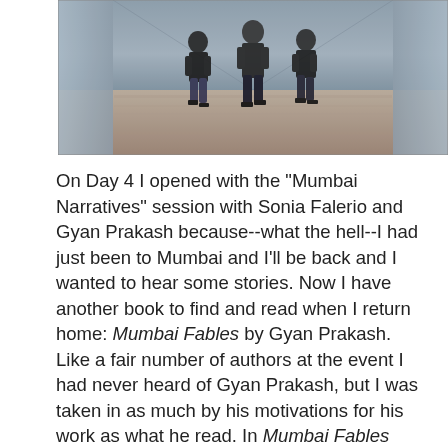[Figure (photo): Black and white photo showing people walking, viewed from behind, on a street or walkway. Multiple figures in dark clothing walking away from camera.]
On Day 4 I opened with the "Mumbai Narratives" session with Sonia Falerio and Gyan Prakash because--what the hell--I had just been to Mumbai and I'll be back and I wanted to hear some stories. Now I have another book to find and read when I return home: Mumbai Fables by Gyan Prakash. Like a fair number of authors at the event I had never heard of Gyan Prakash, but I was taken in as much by his motivations for his work as what he read. In Mumbai Fables Prakash says he was not looking for the stories themselves, but inquiring into the nature of how they were created--peering behind the curtain of the mythology, trying not only to understand what something is but how and why it got that way. That's important: as in engineering, always check your assumptions.